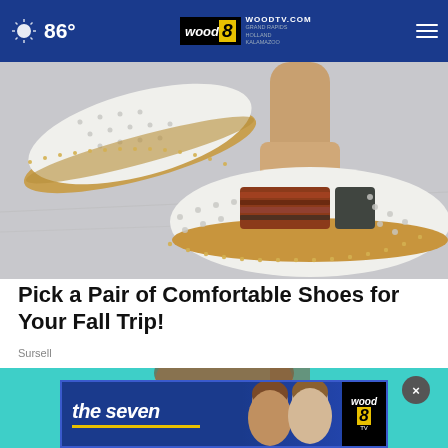86° | WOODTV.COM | GRAND RAPIDS | HOLLAND | KALAMAZOO
[Figure (photo): Close-up photo of feet wearing white slip-on shoes with perforated leather, cork soles, and striped accent band, on grey background]
Pick a Pair of Comfortable Shoes for Your Fall Trip!
Sursell
[Figure (photo): Woman holding credit card against teal/cyan background, partially visible head and hand]
[Figure (screenshot): WOOD TV8 advertisement banner showing 'the seven' show with two female anchors and wood8 logo]